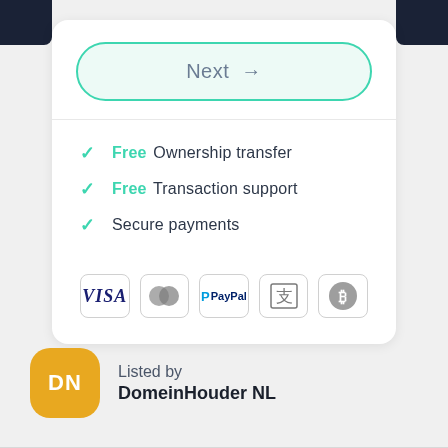Next →
✓ Free Ownership transfer
✓ Free Transaction support
✓ Secure payments
[Figure (other): Payment method icons: VISA, Mastercard, PayPal, Alipay, Bitcoin]
Listed by
DomeinHouder NL